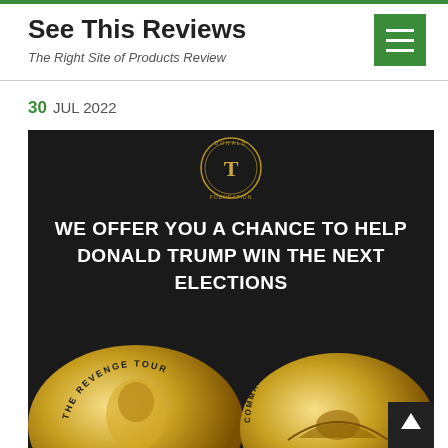See This Reviews
The Right Site of Products Review
30 JUL 2022
[Figure (photo): Dark background promotional image with a gold 'T' medallion logo at top, bold white text reading 'WE OFFER YOU A CHANCE TO HELP DONALD TRUMP WIN THE NEXT ELECTIONS', and two gold commemorative coins at the bottom — one showing a Trump profile with 'THE REVENGE TOUR' text, one showing an eagle with 'COMMANDER IN CHIEF' text.]